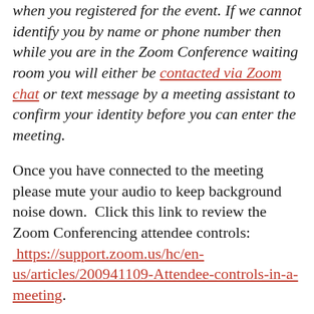when you registered for the event. If we cannot identify you by name or phone number then while you are in the Zoom Conference waiting room you will either be contacted via Zoom chat or text message by a meeting assistant to confirm your identity before you can enter the meeting.
Once you have connected to the meeting please mute your audio to keep background noise down.  Click this link to review the Zoom Conferencing attendee controls: https://support.zoom.us/hc/en-us/articles/200941109-Attendee-controls-in-a-meeting.
During the question and answer time please use Zoom Conferencing "raise hand" option: https://support.zoom.us/hc/en-